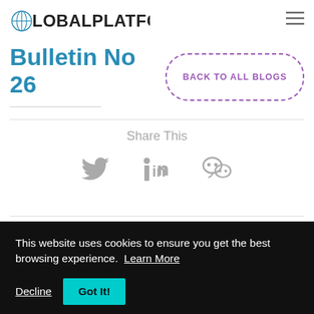GlobalPlatform
Bulletin No 26
BACK TO ALL BLOGS
Share This
[Figure (illustration): Social share icons: Twitter bird, LinkedIn 'in', WeChat logo — all in gray]
This website uses cookies to ensure you get the best browsing experience. Learn More
Decline
Got It!